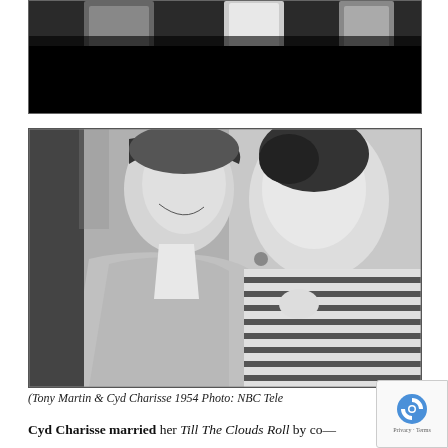[Figure (photo): Partial top photo showing figures in formal attire against a dark background, cropped at the top of the page]
[Figure (photo): Black and white 1954 NBC Television photo of Tony Martin and Cyd Charisse sitting together, man on left in light suit laughing, woman on right in striped top listening]
(Tony Martin & Cyd Charisse 1954 Photo: NBC Tele
Cyd Charisse married her Till The Clouds Roll by co—